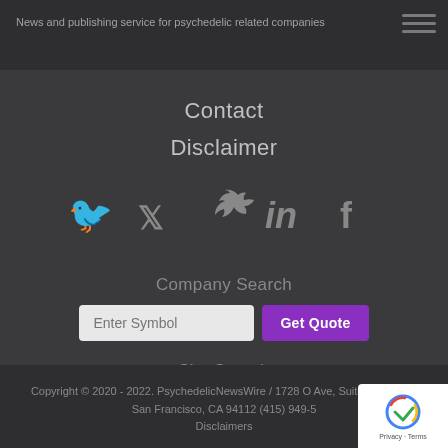News and publishing service for psychedelic related companies
Contact
Disclaimer
[Figure (infographic): Social media icons: Twitter bird, LinkedIn 'in', Facebook 'f' in gray]
Company Search
Enter Symbol | Get Quote
Site Search
Search Term ... | Search
Copyright © 2020 - 2022. PsychedelicNewsWire / 1728 O Ave, Suite PNW-276, San Francisco, CA 94112 (415) 949-5 Disclaimers